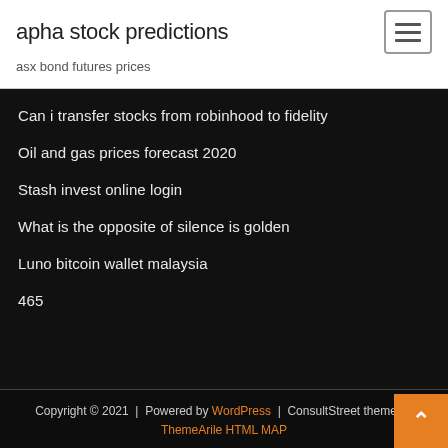apha stock predictions
asx bond futures prices
Can i transfer stocks from robinhood to fidelity
Oil and gas prices forecast 2020
Stash invest online login
What is the opposite of silence is golden
Luno bitcoin wallet malaysia
465
Copyright © 2021  |  Powered by WordPress  |  ConsultStreet theme by ThemeArile HTML MAP